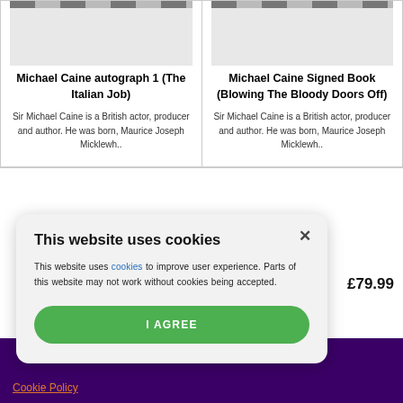[Figure (photo): Product image placeholder for Michael Caine autograph 1 (The Italian Job)]
Michael Caine autograph 1 (The Italian Job)
Sir Michael Caine is a British actor, producer and author. He was born, Maurice Joseph Micklewh..
[Figure (photo): Product image placeholder for Michael Caine Signed Book (Blowing The Bloody Doors Off)]
Michael Caine Signed Book (Blowing The Bloody Doors Off)
Sir Michael Caine is a British actor, producer and author. He was born, Maurice Joseph Micklewh..
£79.99
This website uses cookies
This website uses cookies to improve user experience. Parts of this website may not work without cookies being accepted.
I AGREE
Cookie Policy